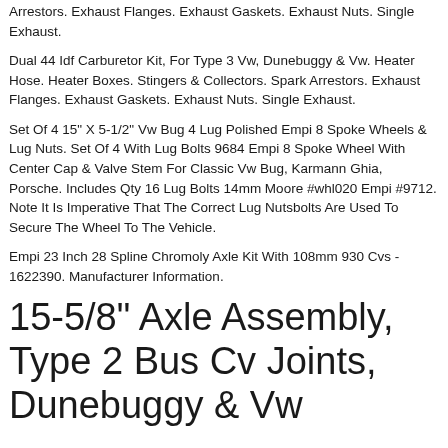Arrestors. Exhaust Flanges. Exhaust Gaskets. Exhaust Nuts. Single Exhaust.
Dual 44 Idf Carburetor Kit, For Type 3 Vw, Dunebuggy & Vw. Heater Hose. Heater Boxes. Stingers & Collectors. Spark Arrestors. Exhaust Flanges. Exhaust Gaskets. Exhaust Nuts. Single Exhaust.
Set Of 4 15" X 5-1/2" Vw Bug 4 Lug Polished Empi 8 Spoke Wheels & Lug Nuts. Set Of 4 With Lug Bolts 9684 Empi 8 Spoke Wheel With Center Cap & Valve Stem For Classic Vw Bug, Karmann Ghia, Porsche. Includes Qty 16 Lug Bolts 14mm Moore #whl020 Empi #9712. Note It Is Imperative That The Correct Lug Nutsbolts Are Used To Secure The Wheel To The Vehicle.
Empi 23 Inch 28 Spline Chromoly Axle Kit With 108mm 930 Cvs - 1622390. Manufacturer Information.
15-5/8" Axle Assembly, Type 2 Bus Cv Joints, Dunebuggy & Vw